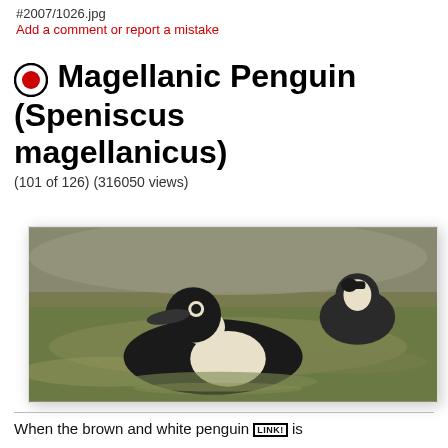#2007/1026.jpg
Add a comment or report a mistake
Magellanic Penguin (Speniscus magellanicus)
(101 of 126) (316050 views)
[Figure (photo): Two Magellanic penguins swimming in greenish-brown water. The foreground penguin is black and white, swimming with its head raised. A second penguin is visible in the background.]
When the brown and white penguin LINK! is